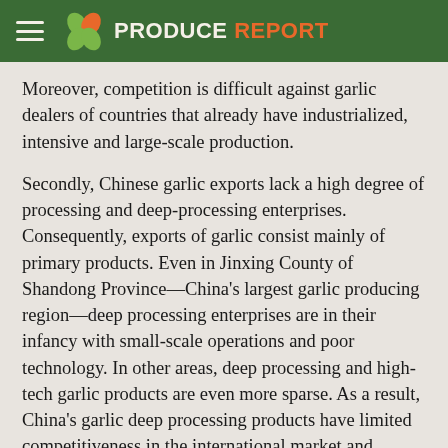PRODUCE REPORT
Moreover, competition is difficult against garlic dealers of countries that already have industrialized, intensive and large-scale production.
Secondly, Chinese garlic exports lack a high degree of processing and deep-processing enterprises. Consequently, exports of garlic consist mainly of primary products. Even in Jinxing County of Shandong Province—China's largest garlic producing region—deep processing enterprises are in their infancy with small-scale operations and poor technology. In other areas, deep processing and high-tech garlic products are even more sparse. As a result, China's garlic deep processing products have limited competitiveness in the international market and